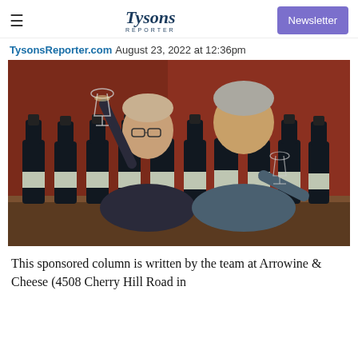Tysons Reporter — Newsletter
TysonsReporter.com August 23, 2022 at 12:36pm
[Figure (photo): Two men standing behind a table lined with approximately 10 wine bottles. The man on the left holds a wine glass aloft and wears glasses and a blazer. The man on the right holds a wine glass and wears a casual shirt. Background is a warm reddish-brown wall.]
This sponsored column is written by the team at Arrowine & Cheese (4508 Cherry Hill Road in